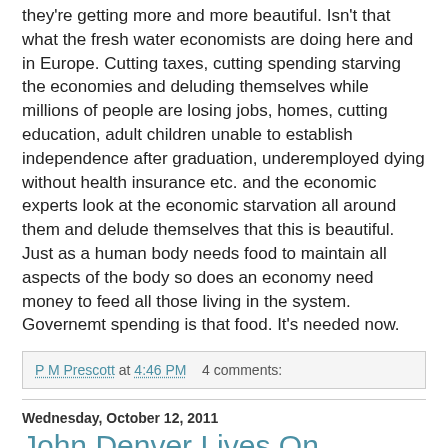they're getting more and more beautiful. Isn't that what the fresh water economists are doing here and in Europe. Cutting taxes, cutting spending starving the economies and deluding themselves while millions of people are losing jobs, homes, cutting education, adult children unable to establish independence after graduation, underemployed dying without health insurance etc. and the economic experts look at the economic starvation all around them and delude themselves that this is beautiful.
Just as a human body needs food to maintain all aspects of the body so does an economy need money to feed all those living in the system. Governemt spending is that food. It's needed now.
P M Prescott at 4:46 PM   4 comments:
Wednesday, October 12, 2011
John Denver Lives On
[Figure (photo): Partial photo visible at bottom of page, appears to show a natural/green scene]